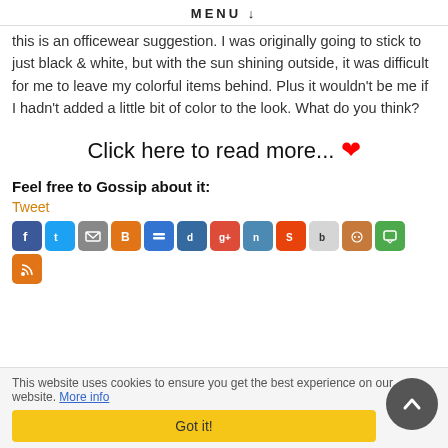MENU ↓
this is an officewear suggestion. I was originally going to stick to just black & white, but with the sun shining outside, it was difficult for me to leave my colorful items behind. Plus it wouldn't be me if I hadn't added a little bit of color to the look. What do you think?
Click here to read more... ❤
Feel free to Gossip about it:
Tweet
[Figure (infographic): Row of social media sharing icons: Facebook, Twitter, Email, Blogger, Delicious, Digg, Google+, Netvibes, StumbleUpon, Bebo, Reddit, Sphere, RSS]
This website uses cookies to ensure you get the best experience on our website. More info
Got it!